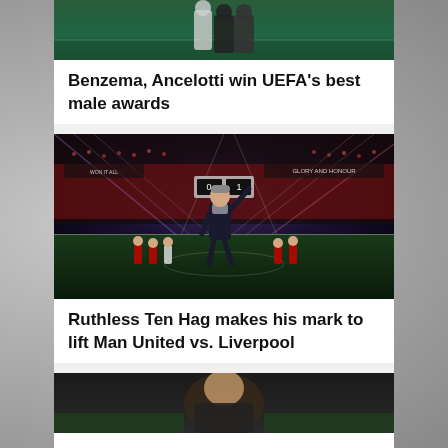[Figure (photo): Sports photo at top, partially cropped - football/soccer scene at stadium]
Benzema, Ancelotti win UEFA's best male awards
[Figure (photo): Erik ten Hag waving to crowd at Old Trafford during Manchester United vs Liverpool match, stadium lights creating star effect]
Ruthless Ten Hag makes his mark to lift Man United vs. Liverpool
[Figure (photo): Bottom photo partially visible, appears to show a footballer]